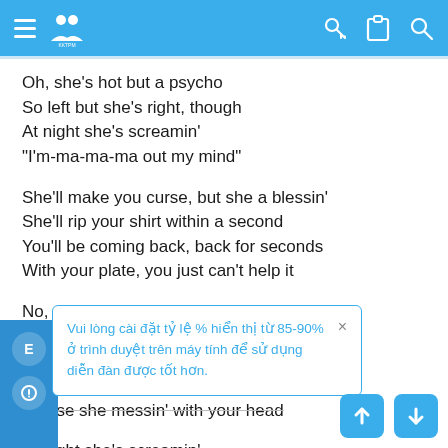App header bar with hamburger menu, logo, key icon, clipboard icon, search icon
Oh, she's hot but a psycho
So left but she's right, though
At night she's screamin'
"I'm-ma-ma-ma out my mind"
She'll make you curse, but she a blessin'
She'll rip your shirt within a second
You'll be coming back, back for seconds
With your plate, you just can't help it
No, no, you'll play along
Let her lead you on
You'll be saying, "No, no"
Then saying, "Yes, yes, yes"
'Cause she messin' with your head
At night she's screamin'
"I'm-ma-ma-ma out my mind"
Vui lòng cài đặt tỷ lệ % hiển thị từ 85-90% ở trình duyệt trên máy tính để sử dụng diễn đàn được tốt hơn.